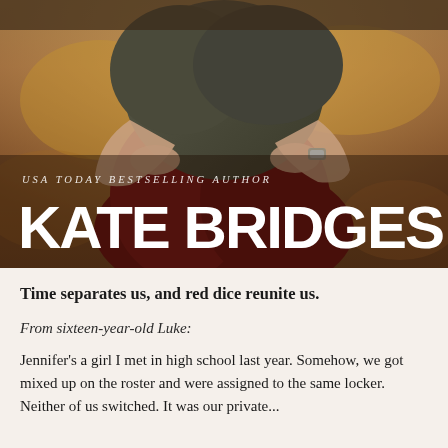[Figure (illustration): Book cover showing two people embracing. A woman in a dark olive/khaki jacket wraps her arms around a man. Warm autumn tones, orange and brown background. Text overlay reads 'USA TODAY BESTSELLING AUTHOR' in small italic caps and 'KATE BRIDGES' in large bold white letters.]
Time separates us, and red dice reunite us.
From sixteen-year-old Luke:
Jennifer's a girl I met in high school last year. Somehow, we got mixed up on the roster and were assigned to the same locker. Neither of us switched. It was our private...